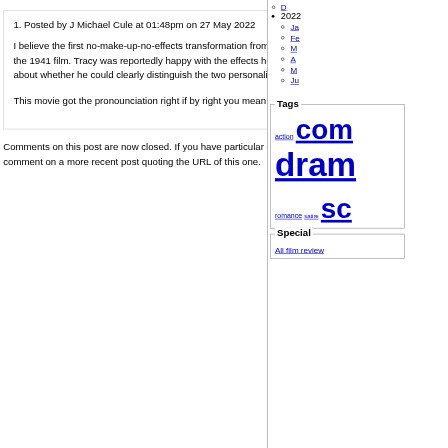Posted by J Michael Cule at 01:48pm on 27 May 2022
I believe the first no-make-up-no-effects transformation from Jeykll to Hyde was Spencer Tracy in the 1941 film. Tracy was reportedly happy with the effects he achieved: others were more doubtful about whether he could clearly distinguish the two personalities.
This movie got the pronounciation right if by right you mean the way the Scots pronounce it.
Comments on this post are now closed. If you have particular grounds for adding a late comment, comment on a more recent post quoting the URL of this one.
Tags
action comedy drama romance satire sc
Special
All film review
Produced by aikakirja v0.1